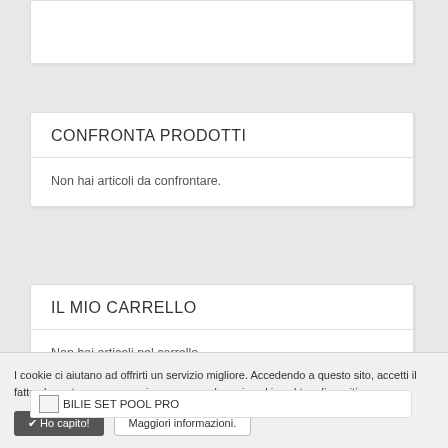CONFRONTA PRODOTTI
Non hai articoli da confrontare.
IL MIO CARRELLO
Non hai articoli nel carrello.
[Figure (other): Image placeholder labeled BILIE SET POOL PRO]
I cookie ci aiutano ad offrirti un servizio migliore. Accedendo a questo sito, accetti il fatto che potremmo memorizzare e accedere ai cookie sul tuo dispositivo.
✔ Ho capito!
Maggiori informazioni.